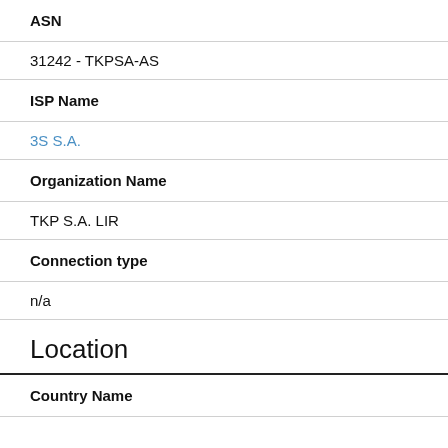ASN
31242 - TKPSA-AS
ISP Name
3S S.A.
Organization Name
TKP S.A. LIR
Connection type
n/a
Location
Country Name